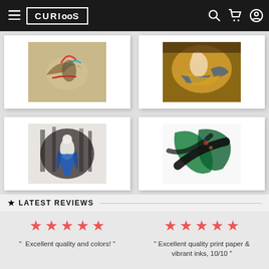CURIOOS navigation header with menu, logo, search, cart, and account icons
[Figure (photo): Gallery of four art prints: top-left shows abstract bird figure with red and teal strokes; top-right shows classical painting of a reclining woman in gold; bottom-left shows dark photo-realistic child figure in blue cloak; bottom-right shows dark gestural abstract with green and black brushstrokes]
★ LATEST REVIEWS
"  Excellent quality and colors! "
" Excellent quality print paper & vibrant inks, 10/10 "